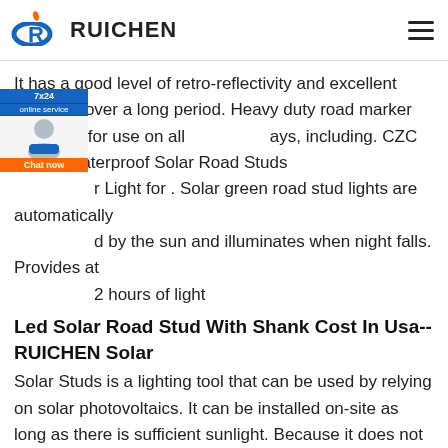RUICHEN
It has a good level of retro-reflectivity and excellent retention over a long period. Heavy duty road marker designed for use on all days, including. CZC Green Waterproof Solar Road Studs r Light for . Solar green road stud lights are automatically d by the sun and illuminates when night falls. Provides at least 12 hours of light
Led Solar Road Stud With Shank Cost In Usa--RUICHEN Solar
Solar Studs is a lighting tool that can be used by relying on solar photovoltaics. It can be installed on-site as long as there is sufficient sunlight. Because it does not pollute the environment, it is called a green product.
Cats Eyes Road Stud With Spike In Usa-RUICHEN Solar Stud Suppiler